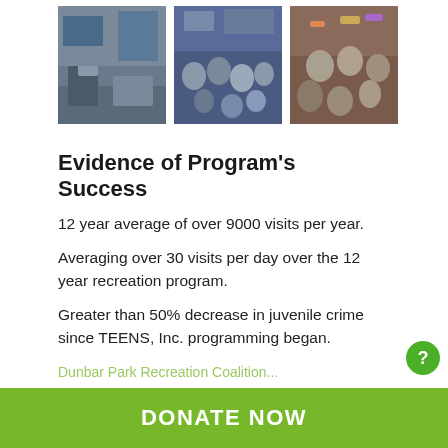[Figure (photo): Three photos of youth program activities: children in a gym, a large group of teens at an event, and people at a celebration.]
Evidence of Program's Success
12 year average of over 9000 visits per year.
Averaging over 30 visits per day over the 12 year recreation program.
Greater than 50% decrease in juvenile crime since TEENS, Inc. programming began.
DONATE NOW